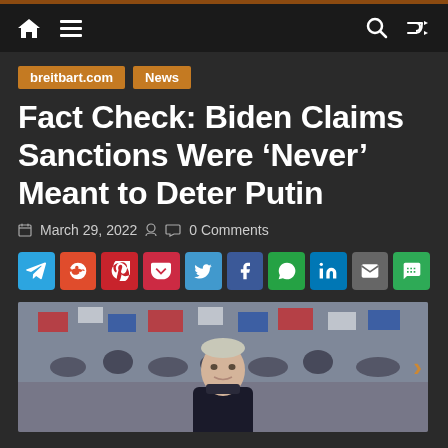breitbart.com navigation bar with home, menu, search, and shuffle icons
breitbart.com  News
Fact Check: Biden Claims Sanctions Were ‘Never’ Meant to Deter Putin
March 29, 2022  0 Comments
[Figure (other): Social media share buttons: Telegram, Reddit, Pinterest, Pocket, Twitter, Facebook, WhatsApp, LinkedIn, Email, SMS]
[Figure (photo): Photo of Vladimir Putin standing in front of a crowd of people waving Russian flags]